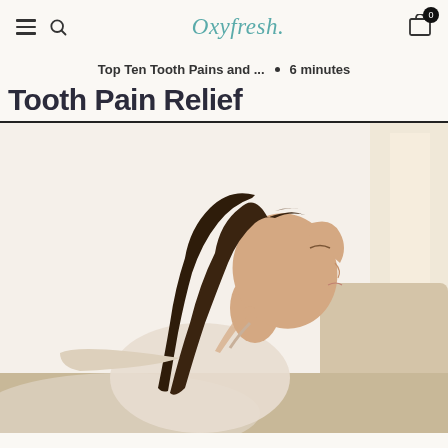Oxyfresh. [navigation header with hamburger menu, search icon, logo, and cart icon with badge 0]
Top Ten Tooth Pains and ... • 6 minutes
Tooth Pain Relief
[Figure (photo): Woman with eyes closed, relaxed, reclining on a sofa with head tilted back, in a bright white interior setting]